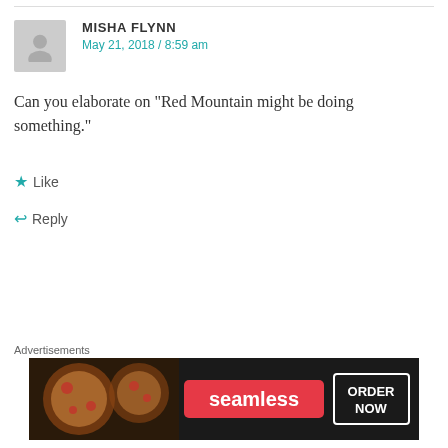MISHA FLYNN
May 21, 2018 / 8:59 am
Can you elaborate on “Red Mountain might be doing something.”
Like
Reply
PETER LANDSMAN
May 21, 2018 / 10:23 am
They were looking for a used Doppelmayr T…
Advertisements